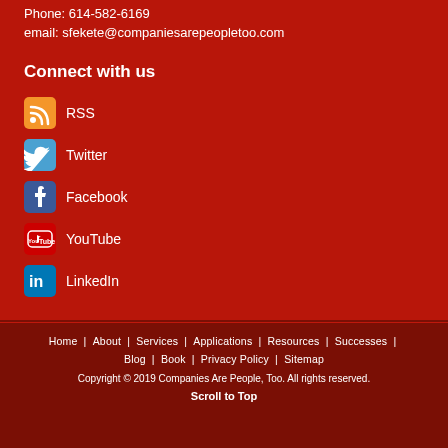Phone: 614-582-6169
email: sfekete@companiesarepeopletoo.com
Connect with us
RSS
Twitter
Facebook
YouTube
LinkedIn
Home | About | Services | Applications | Resources | Successes | Blog | Book | Privacy Policy | Sitemap
Copyright © 2019 Companies Are People, Too. All rights reserved.
Scroll to Top